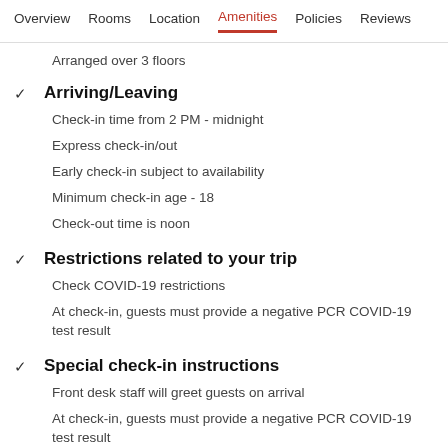Overview  Rooms  Location  Amenities  Policies  Reviews
Arranged over 3 floors
Arriving/Leaving
Check-in time from 2 PM - midnight
Express check-in/out
Early check-in subject to availability
Minimum check-in age - 18
Check-out time is noon
Restrictions related to your trip
Check COVID-19 restrictions
At check-in, guests must provide a negative PCR COVID-19 test result
Special check-in instructions
Front desk staff will greet guests on arrival
At check-in, guests must provide a negative PCR COVID-19 test result